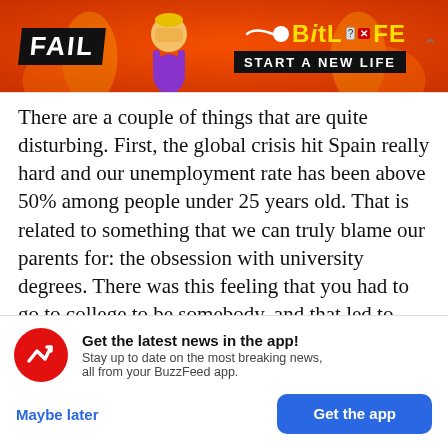[Figure (screenshot): BitLife mobile advertisement banner with 'FAIL' text, animated character, flames, sperm logo, and 'START A NEW LIFE' slogan on red background]
There are a couple of things that are quite disturbing. First, the global crisis hit Spain really hard and our unemployment rate has been above 50% among people under 25 years old. That is related to something that we can truly blame our parents for: the obsession with university degrees. There was this feeling that you had to go to college to be somebody, and that led to many people doing
Get the latest news in the app! Stay up to date on the most breaking news, all from your BuzzFeed app.
Maybe later
Get the app